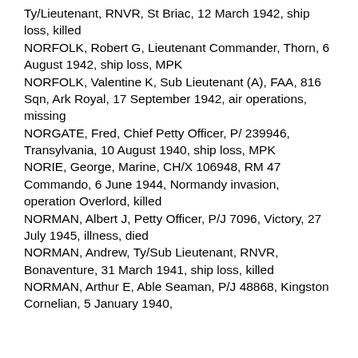Ty/Lieutenant, RNVR, St Briac, 12 March 1942, ship loss, killed
NORFOLK, Robert G, Lieutenant Commander, Thorn, 6 August 1942, ship loss, MPK
NORFOLK, Valentine K, Sub Lieutenant (A), FAA, 816 Sqn, Ark Royal, 17 September 1942, air operations, missing
NORGATE, Fred, Chief Petty Officer, P/ 239946, Transylvania, 10 August 1940, ship loss, MPK
NORIE, George, Marine, CH/X 106948, RM 47 Commando, 6 June 1944, Normandy invasion, operation Overlord, killed
NORMAN, Albert J, Petty Officer, P/J 7096, Victory, 27 July 1945, illness, died
NORMAN, Andrew, Ty/Sub Lieutenant, RNVR, Bonaventure, 31 March 1941, ship loss, killed
NORMAN, Arthur E, Able Seaman, P/J 48868, Kingston Cornelian, 5 January 1940,